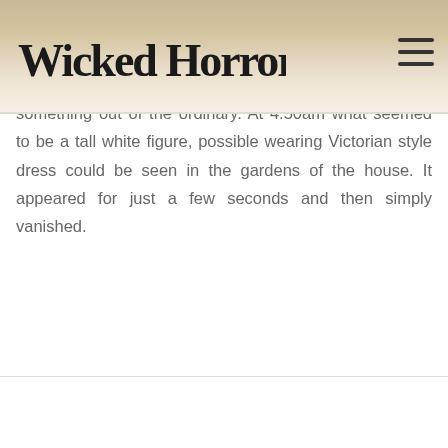Wicked Horror
GHOUL OF BELGRAVE HALL-
On December 23, 1998, a security camera at a Victorian mansion in Leicester, United Kingdom, captured something out of the ordinary. At 4.50am what seemed to be a tall white figure, possible wearing Victorian style dress could be seen in the gardens of the house. It appeared for just a few seconds and then simply vanished.